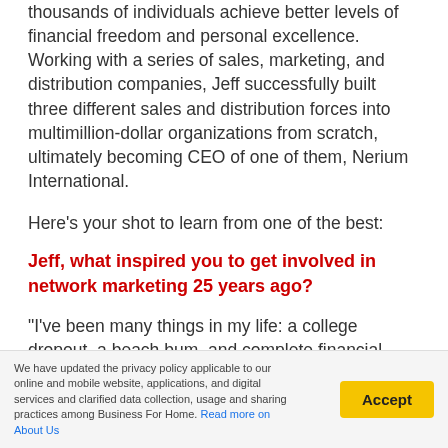thousands of individuals achieve better levels of financial freedom and personal excellence. Working with a series of sales, marketing, and distribution companies, Jeff successfully built three different sales and distribution forces into multimillion-dollar organizations from scratch, ultimately becoming CEO of one of them, Nerium International.
Here's your shot to learn from one of the best:
Jeff, what inspired you to get involved in network marketing 25 years ago?
“I’ve been many things in my life: a college dropout, a beach bum, and complete financial failure, straight-A student, top corporate manager, super-achieving entrepreneur in a cutting-edge industry, and
We have updated the privacy policy applicable to our online and mobile website, applications, and digital services and clarified data collection, usage and sharing practices among Business For Home. Read more on About Us